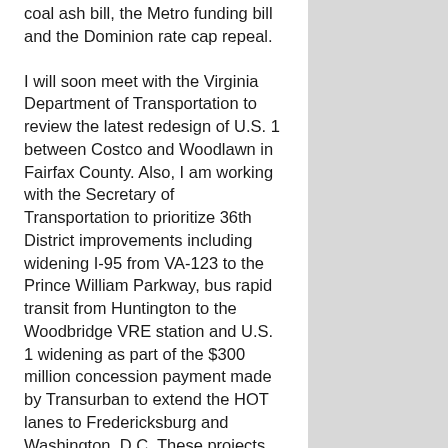coal ash bill, the Metro funding bill and the Dominion rate cap repeal.
I will soon meet with the Virginia Department of Transportation to review the latest redesign of U.S. 1 between Costco and Woodlawn in Fairfax County. Also, I am working with the Secretary of Transportation to prioritize 36th District improvements including widening I-95 from VA-123 to the Prince William Parkway, bus rapid transit from Huntington to the Woodbridge VRE station and U.S. 1 widening as part of the $300 million concession payment made by Transurban to extend the HOT lanes to Fredericksburg and Washington, D.C. These projects are squarely within the parameters of eligible projects.
Please email me at scottsurovell@gmail.com if you have feedback. It is an honor to serve as your state senator.